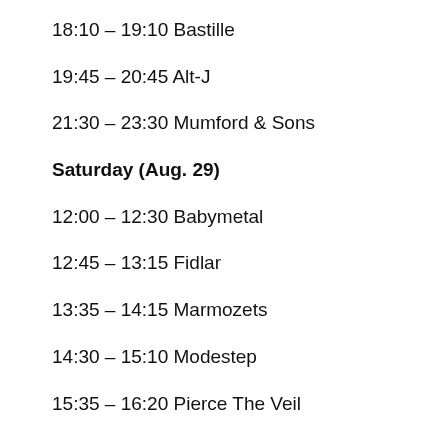18:10 – 19:10 Bastille
19:45 – 20:45 Alt-J
21:30 – 23:30 Mumford & Sons
Saturday (Aug. 29)
12:00 – 12:30 Babymetal
12:45 – 13:15 Fidlar
13:35 – 14:15 Marmozets
14:30 – 15:10 Modestep
15:35 – 16:20 Pierce The Veil